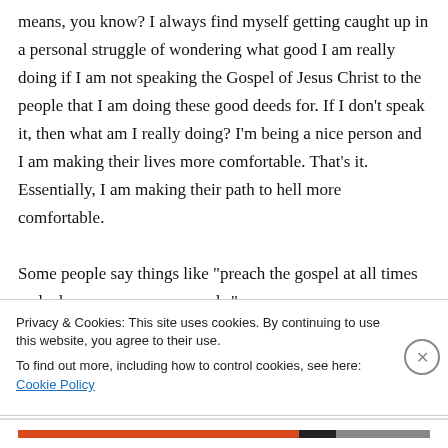means, you know? I always find myself getting caught up in a personal struggle of wondering what good I am really doing if I am not speaking the Gospel of Jesus Christ to the people that I am doing these good deeds for. If I don't speak it, then what am I really doing? I'm being a nice person and I am making their lives more comfortable. That's it. Essentially, I am making their path to hell more comfortable.
Some people say things like “preach the gospel at all times and when necessary use words.”
Privacy & Cookies: This site uses cookies. By continuing to use this website, you agree to their use.
To find out more, including how to control cookies, see here: Cookie Policy
Close and accept